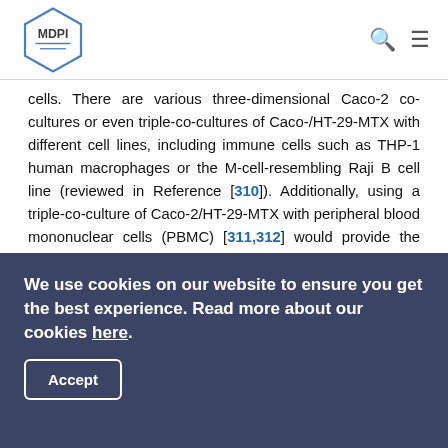MDPI
cells. There are various three-dimensional Caco-2 co-cultures or even triple-co-cultures of Caco-/HT-29-MTX with different cell lines, including immune cells such as THP-1 human macrophages or the M-cell-resembling Raji B cell line (reviewed in Reference [310]). Additionally, using a triple-co-culture of Caco-2/HT-29-MTX with peripheral blood mononuclear cells (PBMC) [311,312] would provide the option to study the impact of leukocytes in the blood serum on intestinal zinc absorption.
5.4. Comparison of In Vitro Cellular Intestinal Models with the In Vivo Situation
Applying in vitro models to mimic processes in vivo requires
We use cookies on our website to ensure you get the best experience. Read more about our cookies here.
Accept